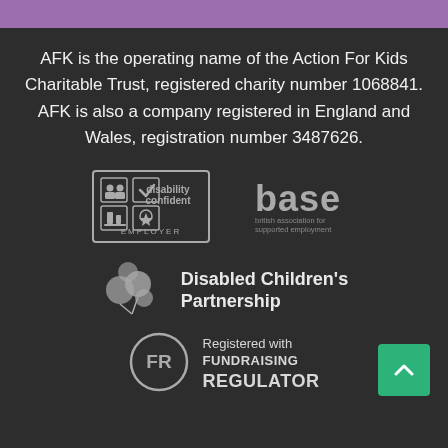AFK is the operating name of the Action For Kids Charitable Trust, registered charity number 1068841. AFK is also a company registered in England and Wales, registration number 3487626.
[Figure (logo): Disability Confident Employer logo - grid of four icons with text 'disability confident EMPLOYER']
[Figure (logo): BASE - british association for supported employment logo]
[Figure (logo): Disabled Children's Partnership logo with balloon cluster icon]
[Figure (logo): Registered with Fundraising Regulator logo - FR in circle]